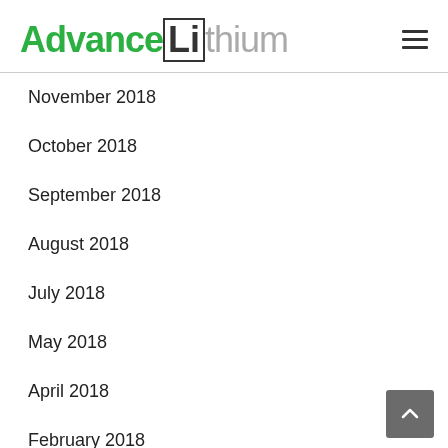Advance Lithium
November 2018
October 2018
September 2018
August 2018
July 2018
May 2018
April 2018
February 2018
January 2018
November 2017